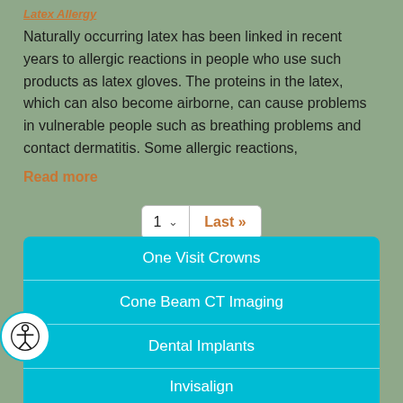Latex Allergy
Naturally occurring latex has been linked in recent years to allergic reactions in people who use such products as latex gloves. The proteins in the latex, which can also become airborne, can cause problems in vulnerable people such as breathing problems and contact dermatitis. Some allergic reactions,
Read more
[Figure (other): Pagination control with page selector showing '1' with dropdown arrow and 'Last >>' button]
One Visit Crowns
Cone Beam CT Imaging
Dental Implants
Invisalign